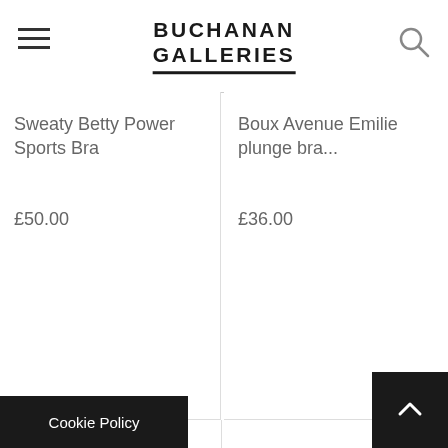Buchanan Galleries
Sweaty Betty Power Sports Bra
£50.00
Boux Avenue Emilie plunge bra...
£36.00
[Figure (photo): Bottom-left product image placeholder (gray)]
[Figure (photo): Bottom-right product image placeholder (gray)]
Cookie Policy